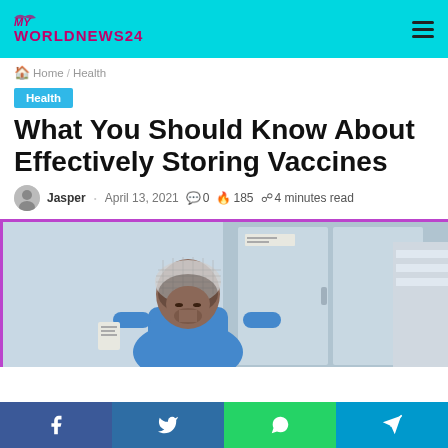MY WORLDNEWS24
Home / Health
Health
What You Should Know About Effectively Storing Vaccines
Jasper · April 13, 2021  0  185  4 minutes read
[Figure (photo): Healthcare worker in hairnet and blue uniform at a storage facility with large refrigerators/freezers in the background.]